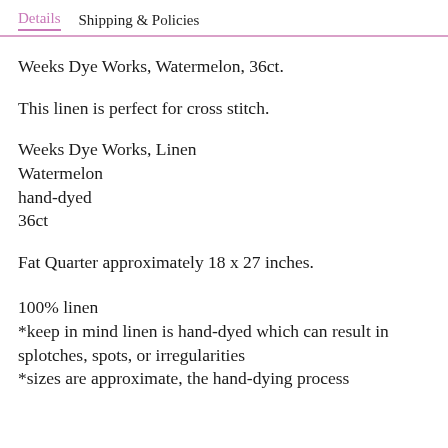Details   Shipping & Policies
Weeks Dye Works, Watermelon, 36ct.
This linen is perfect for cross stitch.
Weeks Dye Works, Linen
Watermelon
hand-dyed
36ct
Fat Quarter approximately 18 x 27 inches.
100% linen
*keep in mind linen is hand-dyed which can result in splotches, spots, or irregularities
*sizes are approximate, the hand-dying process